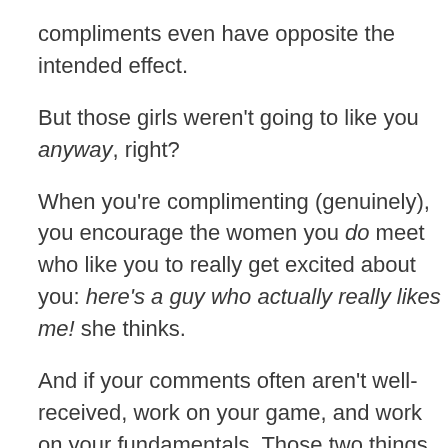compliments even have opposite the intended effect.
But those girls weren't going to like you anyway, right?
When you're complimenting (genuinely), you encourage the women you do meet who like you to really get excited about you: here's a guy who actually really likes me! she thinks.
And if your comments often aren't well-received, work on your game, and work on your fundamentals. Those two things together make all the difference between a man whose compliments work on 5% of the girls he meets and a man whose compliments work on 70%